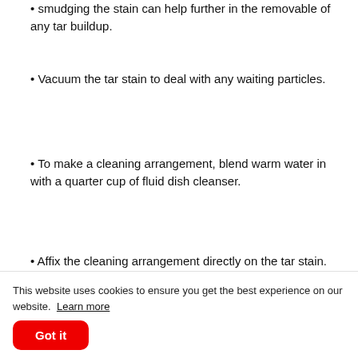Smudging the stain can help further in the removable of any tar buildup.
Vacuum the tar stain to deal with any waiting particles.
To make a cleaning arrangement, blend warm water in with a quarter cup of fluid dish cleanser.
Affix the cleaning arrangement directly on the tar stain. Gradually and cautiously work from the
This website uses cookies to ensure you get the best experience on our website. Learn more